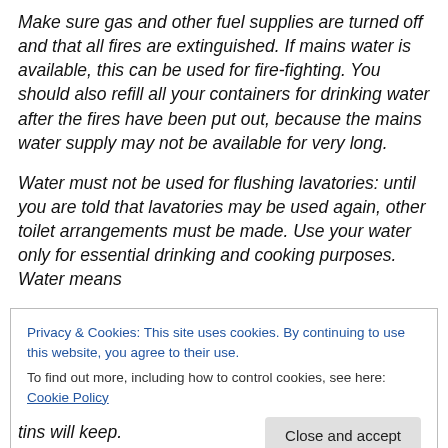Make sure gas and other fuel supplies are turned off and that all fires are extinguished. If mains water is available, this can be used for fire-fighting. You should also refill all your containers for drinking water after the fires have been put out, because the mains water supply may not be available for very long.
Water must not be used for flushing lavatories: until you are told that lavatories may be used again, other toilet arrangements must be made. Use your water only for essential drinking and cooking purposes. Water means
Privacy & Cookies: This site uses cookies. By continuing to use this website, you agree to their use. To find out more, including how to control cookies, see here: Cookie Policy
tins will keep.